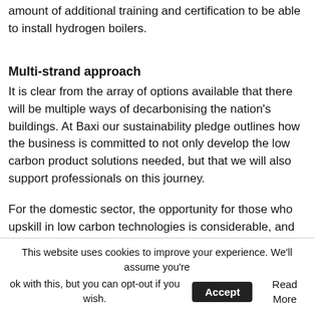amount of additional training and certification to be able to install hydrogen boilers.
Multi-strand approach
It is clear from the array of options available that there will be multiple ways of decarbonising the nation's buildings. At Baxi our sustainability pledge outlines how the business is committed to not only develop the low carbon product solutions needed, but that we will also support professionals on this journey.
For the domestic sector, the opportunity for those who upskill in low carbon technologies is considerable, and the support of manufacturers will be important to help professionals with product training. As part of this, more renewables training
This website uses cookies to improve your experience. We'll assume you're ok with this, but you can opt-out if you wish. Accept Read More